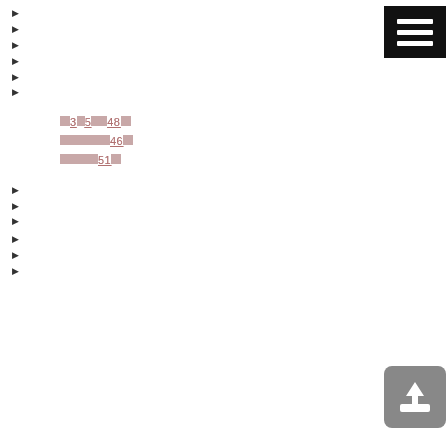[redacted link item 1]
[redacted link item 2]
[redacted link item 3]
[redacted link item 4]
[redacted link item 5]
[redacted link item 6]
[redacted sub-item 1]
[redacted] 3[?]5[???]48[??]
[redacted????]46[??]
[redacted???]51[??]
[redacted sub-item 5]
[redacted link item 7]
[redacted link item 8]
[redacted link item 9]
[redacted link item 10]
[redacted link item 11]
[redacted link item 12]